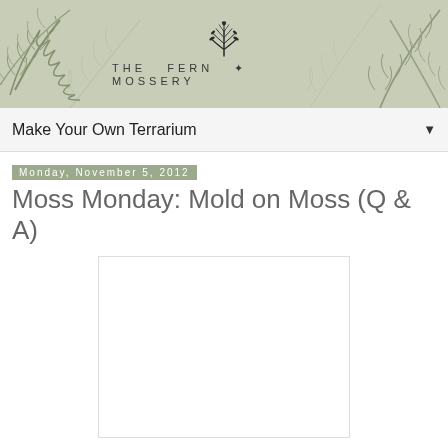[Figure (illustration): The Fern & Mossery blog header banner with fern leaf decorations on a sage green/grey background, featuring a fern tree logo icon and the text 'THE FERN & MOSSERY']
Make Your Own Terrarium ▼
Monday, November 5, 2012
Moss Monday: Mold on Moss (Q & A)
[Figure (photo): A blank/white rectangular image placeholder]